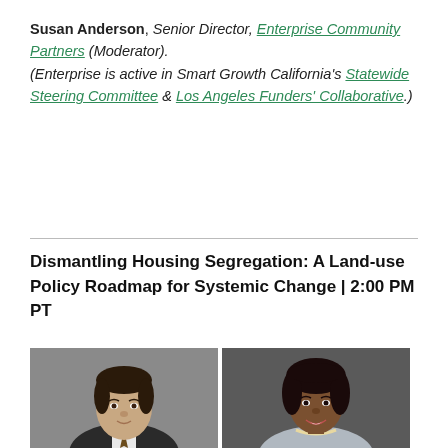Susan Anderson, Senior Director, Enterprise Community Partners (Moderator). (Enterprise is active in Smart Growth California's Statewide Steering Committee & Los Angeles Funders' Collaborative.)
Dismantling Housing Segregation: A Land-use Policy Roadmap for Systemic Change | 2:00 PM PT
[Figure (photo): Two professional headshot photos side by side: a man with dark hair wearing a dark suit on the left, and a woman with curly hair wearing a light blazer on the right.]